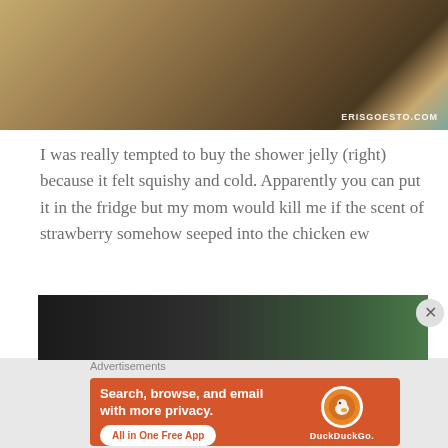[Figure (photo): Top portion of a photo showing wooden shelves/cabinet with soap bars and other products, watermark ERISGOESTO.COM in bottom right]
I was really tempted to buy the shower jelly (right) because it felt squishy and cold. Apparently you can put it in the fridge but my mom would kill me if the scent of strawberry somehow seeped into the chicken ew
[Figure (photo): Partial bottom photo showing dark background with green/yellow items]
Advertisements
[Figure (infographic): DuckDuckGo advertisement banner with orange background reading: Search, browse, and email with more privacy. All in One Free App. DuckDuckGo logo on right.]